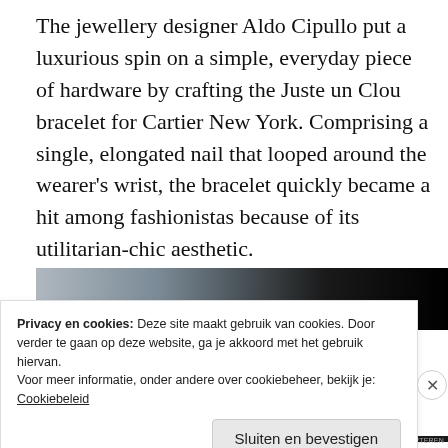The jewellery designer Aldo Cipullo put a luxurious spin on a simple, everyday piece of hardware by crafting the Juste un Clou bracelet for Cartier New York. Comprising a single, elongated nail that looped around the wearer's wrist, the bracelet quickly became a hit among fashionistas because of its utilitarian-chic aesthetic.
[Figure (photo): Partial view of a photograph showing a figure against a light-to-dark background, partially obscured by cookie consent overlay.]
Privacy en cookies: Deze site maakt gebruik van cookies. Door verder te gaan op deze website, ga je akkoord met het gebruik hiervan.
Voor meer informatie, onder andere over cookiebeheer, bekijk je: Cookiebeleid
Sluiten en bevestigen